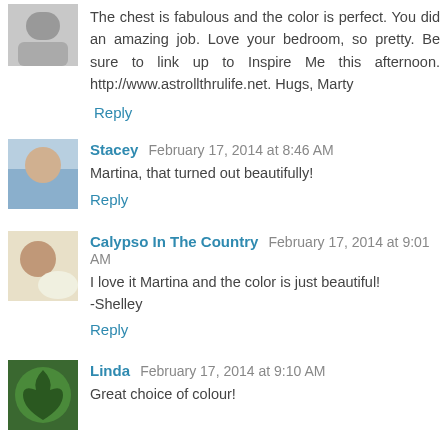The chest is fabulous and the color is perfect. You did an amazing job. Love your bedroom, so pretty. Be sure to link up to Inspire Me this afternoon. http://www.astrollthrulife.net. Hugs, Marty
Reply
Stacey  February 17, 2014 at 8:46 AM
Martina, that turned out beautifully!
Reply
Calypso In The Country  February 17, 2014 at 9:01 AM
I love it Martina and the color is just beautiful!
-Shelley
Reply
Linda  February 17, 2014 at 9:10 AM
Great choice of colour!